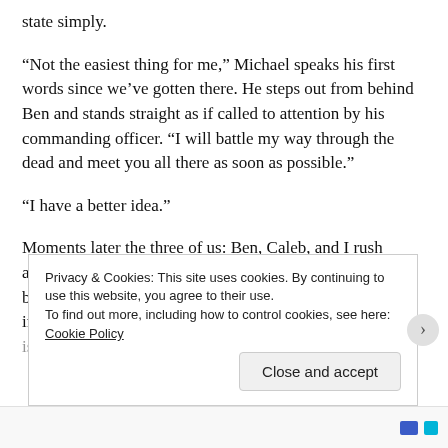state simply.
“Not the easiest thing for me,” Michael speaks his first words since we’ve gotten there. He steps out from behind Ben and stands straight as if called to attention by his commanding officer. “I will battle my way through the dead and meet you all there as soon as possible.”
“I have a better idea.”
Moments later the three of us: Ben, Caleb, and I rush across the rooftops of the various houses and other buildings standing up along the streets. My hand is raised in the air and slowly becoming more and more tired, above is Michael
Privacy & Cookies: This site uses cookies. By continuing to use this website, you agree to their use.
To find out more, including how to control cookies, see here: Cookie Policy
Close and accept